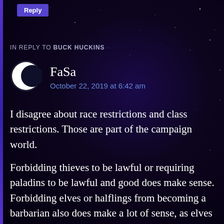[Figure (screenshot): Reply button (blue/purple) at top of comment section]
IN REPLY TO BUCK HUCKINS
[Figure (illustration): Crescent moon avatar icon for user FaSa]
FaSa
October 22, 2019 at 6:42 am
I disagree about race restrictions and class restrictions. Those are part of the campaign world.
Forbidding thieves to be lawful or requiring paladins to be lawful and good does make sense. Forbidding elves or halflings from becoming a barbarian also does make a lot of sense, as elves are very cultured and halflings